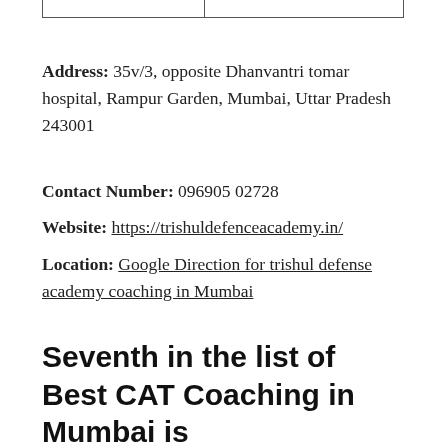|  |
Address: 35v/3, opposite Dhanvantri tomar hospital, Rampur Garden, Mumbai, Uttar Pradesh 243001
Contact Number: 096905 02728
Website: https://trishuldefenceacademy.in/
Location: Google Direction for trishul defense academy coaching in Mumbai
Seventh in the list of Best CAT Coaching in Mumbai is